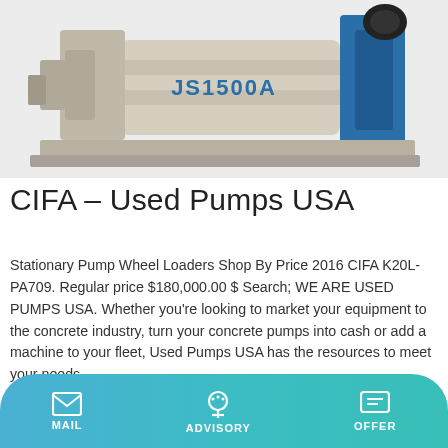[Figure (photo): JS1500A industrial concrete mixer machine, beige/grey body with blue frame, on a platform, labeled JS1500A in blue text]
CIFA – Used Pumps USA
Stationary Pump Wheel Loaders Shop By Price 2016 CIFA K20L-PA709. Regular price $180,000.00 $ Search; WE ARE USED PUMPS USA. Whether you're looking to market your equipment to the concrete industry, turn your concrete pumps into cash or add a machine to your fleet, Used Pumps USA has the resources to meet your needs.
Learn More
[Figure (photo): Partial view of industrial pump equipment, grey metallic parts visible]
MAIL   ADVISORY   OFFER